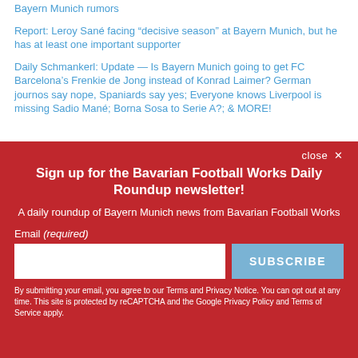Bayern Munich rumors
Report: Leroy Sané facing “decisive season” at Bayern Munich, but he has at least one important supporter
Daily Schmankerl: Update — Is Bayern Munich going to get FC Barcelona’s Frenkie de Jong instead of Konrad Laimer? German journos say nope, Spaniards say yes; Everyone knows Liverpool is missing Sadio Mané; Borna Sosa to Serie A?; & MORE!
Sign up for the Bavarian Football Works Daily Roundup newsletter!
A daily roundup of Bayern Munich news from Bavarian Football Works
Email (required)
SUBSCRIBE
By submitting your email, you agree to our Terms and Privacy Notice. You can opt out at any time. This site is protected by reCAPTCHA and the Google Privacy Policy and Terms of Service apply.